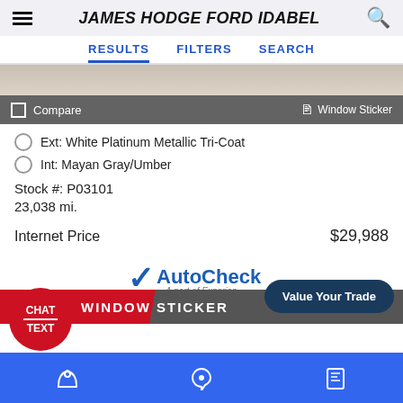JAMES HODGE FORD IDABEL
RESULTS   FILTERS   SEARCH
[Figure (photo): Partial view of a vehicle exterior (tan/beige color)]
Compare   Window Sticker
Ext: White Platinum Metallic Tri-Coat
Int: Mayan Gray/Umber
Stock #: P03101
23,038 mi.
Internet Price   $29,988
[Figure (logo): AutoCheck - A part of Experian logo with blue checkmark]
Value Your Trade
WINDOW STICKER
CHAT / TEXT